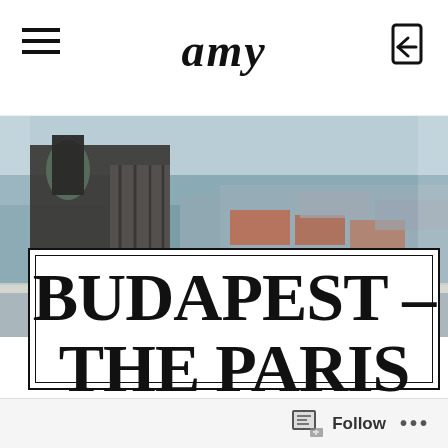amy
[Figure (photo): Aerial cityscape photo of Budapest showing rooftops, a large cathedral/church with copper dome, and city buildings stretching into the distance under a clear sky]
BUDAPEST - THE PARIS OF THE
Follow ...